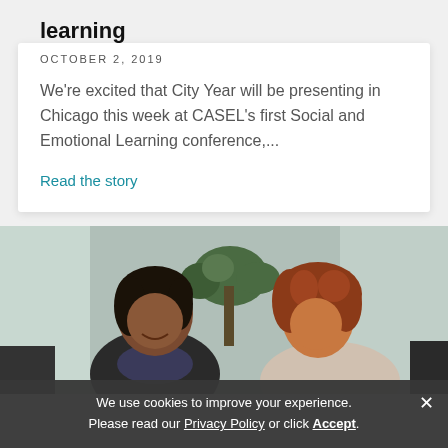learning
OCTOBER 2, 2019
We're excited that City Year will be presenting in Chicago this week at CASEL's first Social and Emotional Learning conference,...
Read the story
[Figure (photo): Two women sitting indoors near large windows with a plant behind them, appearing to be in conversation. One woman has dark hair and the other has curly auburn hair.]
We use cookies to improve your experience. Please read our Privacy Policy or click Accept.